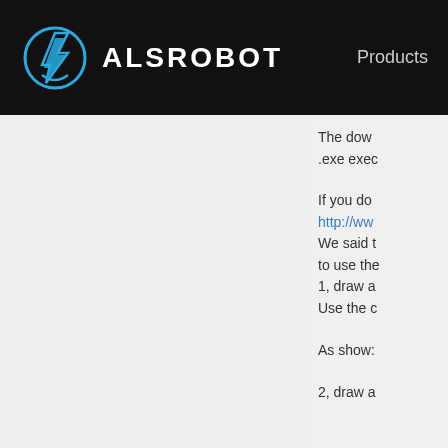ALSROBOT | Products
The dow
.exe exec
If you do
http://ww
We said t
to use the
1, draw a
Use the c
As show:
2, draw a